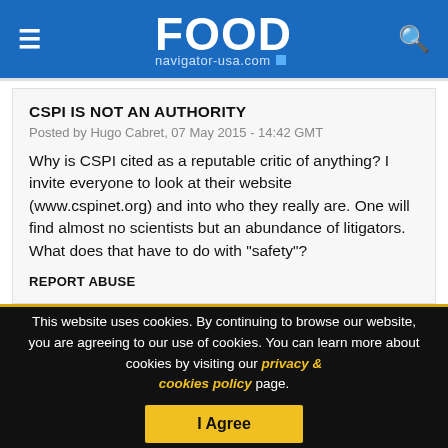FOOD navigator-usa.com
CSPI IS NOT AN AUTHORITY
Posted by Hugo Cabret, 07 May 2015 - 14:42 GMT
Why is CSPI cited as a reputable critic of anything? I invite everyone to look at their website (www.cspinet.org) and into who they really are. One will find almost no scientists but an abundance of litigators. What does that have to do with "safety"?
REPORT ABUSE
This website uses cookies. By continuing to browse our website, you are agreeing to our use of cookies. You can learn more about cookies by visiting our privacy & cookies policy page.